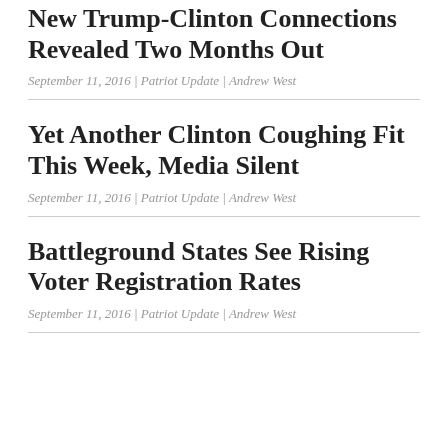New Trump-Clinton Connections Revealed Two Months Out
September 11, 2016 | Patriot Update | Andrew West
Yet Another Clinton Coughing Fit This Week, Media Silent
September 11, 2016 | Patriot Update | Andrew West
Battleground States See Rising Voter Registration Rates
September 11, 2016 | Patriot Update | Andrew West